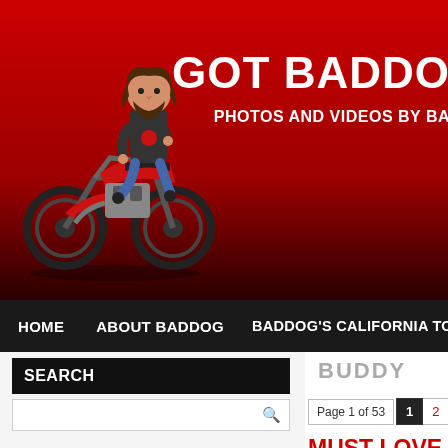[Figure (illustration): Website header with red gradient background, cartoon biker illustration on left, and site title 'GOT BADDO' (clipped) with subtitle 'PHOTOS AND VIDEOS BY BA' (clipped) on right]
GOT BADDO
PHOTOS AND VIDEOS BY BA
HOME   ABOUT BADDOG   BADDOG'S CALIFORNIA TOU
SEARCH
BUDDY
Page 1 of 53   1   2
MUST LOVE
Published February 4, 2012 |
I have become aware t you know anything abo and have appreciated, is a comfort dog and h offer support to the vict